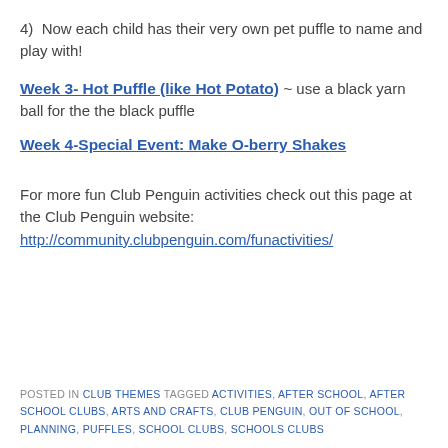4)  Now each child has their very own pet puffle to name and play with!
Week 3- Hot Puffle (like Hot Potato) ~ use a black yarn ball for the the black puffle
Week 4-Special Event: Make O-berry Shakes
For more fun Club Penguin activities check out this page at the Club Penguin website:
http://community.clubpenguin.com/funactivities/
POSTED IN CLUB THEMES TAGGED ACTIVITIES, AFTER SCHOOL, AFTER SCHOOL CLUBS, ARTS AND CRAFTS, CLUB PENGUIN, OUT OF SCHOOL, PLANNING, PUFFLES, SCHOOL CLUBS, SCHOOLS CLUBS